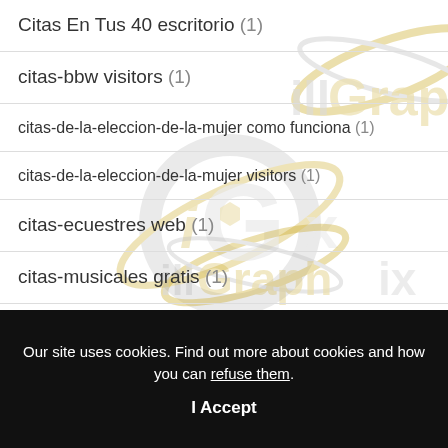Citas En Tus 40 escritorio (1)
citas-bbw visitors (1)
citas-de-la-eleccion-de-la-mujer como funciona (1)
citas-de-la-eleccion-de-la-mujer visitors (1)
citas-ecuestres web (1)
citas-musicales gratis (1)
Our site uses cookies. Find out more about cookies and how you can refuse them.
I Accept